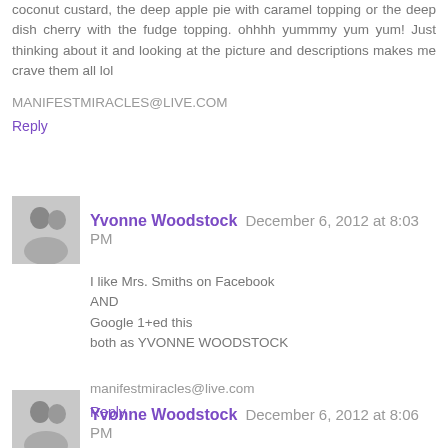coconut custard, the deep apple pie with caramel topping or the deep dish cherry with the fudge topping. ohhhh yummmy yum yum! Just thinking about it and looking at the picture and descriptions makes me crave them all lol
MANIFESTMIRACLES@LIVE.COM
Reply
Yvonne Woodstock December 6, 2012 at 8:03 PM
I like Mrs. Smiths on Facebook
AND
Google 1+ed this
both as YVONNE WOODSTOCK
manifestmiracles@live.com
Reply
Yvonne Woodstock December 6, 2012 at 8:06 PM